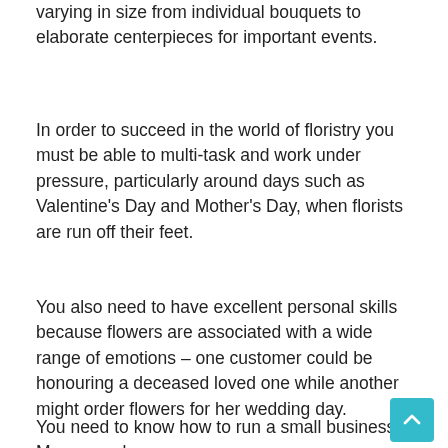varying in size from individual bouquets to elaborate centerpieces for important events.
In order to succeed in the world of floristry you must be able to multi-task and work under pressure, particularly around days such as Valentine's Day and Mother's Day, when florists are run off their feet.
You also need to have excellent personal skills because flowers are associated with a wide range of emotions – one customer could be honouring a deceased loved one while another might order flowers for her wedding day.
You need to know how to run a small business. Many people